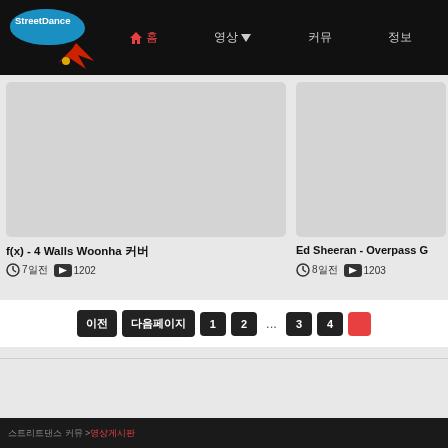StreetDance 홈 영상 커뮤 정보
[Figure (screenshot): Video thumbnail card for f(x) - 4 Walls Woonha cover, gray placeholder thumbnail]
f(x) - 4 Walls Woonha 커버
7일전  1202
[Figure (screenshot): Video thumbnail card for Ed Sheeran - Overpass G, gray placeholder thumbnail]
Ed Sheeran - Overpass G
8일전  1203
이전 | 다음페이지 | 1 | 2 | ... | 3 | 4 | (active page)
스트리트댄스 커뮤 > 영상게시판